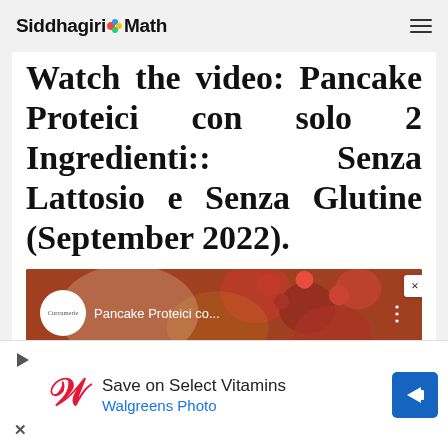Siddhagiri-Math
Watch the video: Pancake Proteici con solo 2 Ingredienti:: Senza Lattosio e Senza Glutine (September 2022).
[Figure (screenshot): YouTube video thumbnail showing 'Pancake Proteici co...' with channel icon (Curcumerie) and menu dots button. Background shows food with berries.]
[Figure (other): Walgreens advertisement banner: 'Save on Select Vitamins' with Walgreens Photo logo and navigation arrow icon. Includes play and close buttons.]